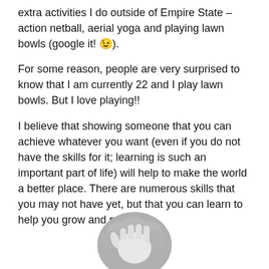extra activities I do outside of Empire State – action netball, aerial yoga and playing lawn bowls (google it! 😉).
For some reason, people are very surprised to know that I am currently 22 and I play lawn bowls. But I love playing!!
I believe that showing someone that you can achieve whatever you want (even if you do not have the skills for it; learning is such an important part of life) will help to make the world a better place. There are numerous skills that you may not have yet, but that you can learn to help you grow and prosper.
[Figure (illustration): A grey silhouette illustration of a hand with fingers spread, overlaid on a round grey brain/globe shape, visible at the bottom of the page.]